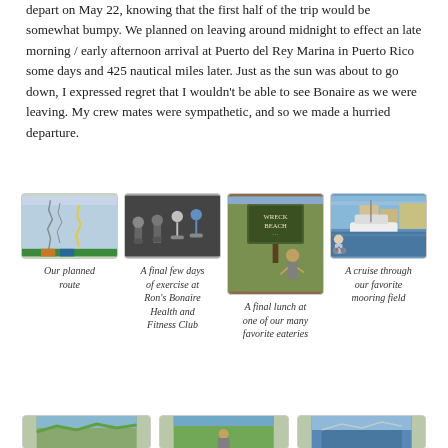depart on May 22, knowing that the first half of the trip would be somewhat bumpy. We planned on leaving around midnight to effect an late morning / early afternoon arrival at Puerto del Rey Marina in Puerto Rico some days and 425 nautical miles later. Just as the sun was about to go down, I expressed regret that I wouldn't be able to see Bonaire as we were leaving. My crew mates were sympathetic, and so we made a hurried departure.
[Figure (photo): Map showing planned sailing route]
Our planned route
[Figure (photo): People exercising on bikes at a gym]
A final few days of exercise at Ron's Bonaire Health and Fitness Club
[Figure (photo): Wreck Beach sign with person standing in front]
A final lunch at one of our many favorite eateries
[Figure (photo): Person on bicycle in front of marina with boats]
A cruise through our favorite mooring field
[Figure (photo): Bottom row photo 1]
[Figure (photo): Bottom row photo 2]
[Figure (photo): Bottom row photo 3]